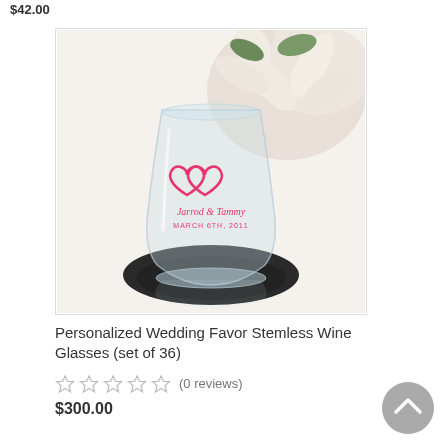$42.00
[Figure (photo): A stemless wine glass with two interlinked pink hearts and the text 'Jarrod & Tammy MARCH 6TH, 2011' printed on it, sitting on a dark reflective surface with white flowers in the background.]
Personalized Wedding Favor Stemless Wine Glasses (set of 36)
(0 reviews)
$300.00